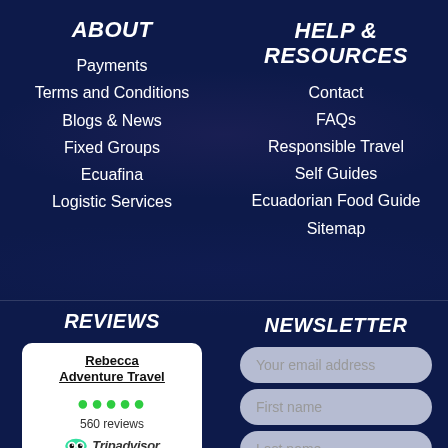ABOUT
Payments
Terms and Conditions
Blogs & News
Fixed Groups
Ecuafina
Logistic Services
HELP & RESOURCES
Contact
FAQs
Responsible Travel
Self Guides
Ecuadorian Food Guide
Sitemap
REVIEWS
Rebecca Adventure Travel
560 reviews
Tripadvisor
NEWSLETTER
Your email address
First name
Last name